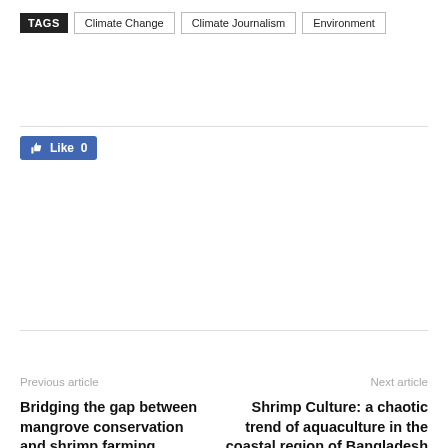TAGS  Climate Change  Climate Journalism  Environment
[Figure (other): Facebook Like button showing 0 likes]
Previous article
Next article
Bridging the gap between mangrove conservation and shrimp farming
Shrimp Culture: a chaotic trend of aquaculture in the coastal region of Bangladesh